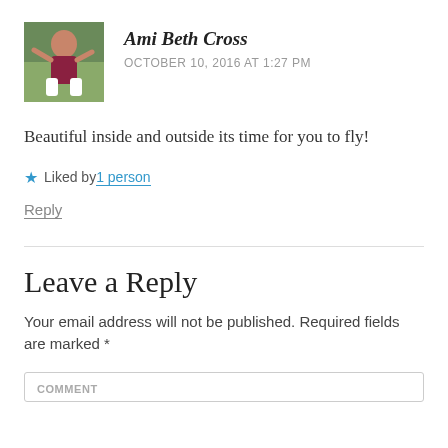[Figure (photo): Profile photo of Ami Beth Cross, a woman outdoors on grass]
Ami Beth Cross
OCTOBER 10, 2016 AT 1:27 PM
Beautiful inside and outside its time for you to fly!
★ Liked by 1 person
Reply
Leave a Reply
Your email address will not be published. Required fields are marked *
COMMENT